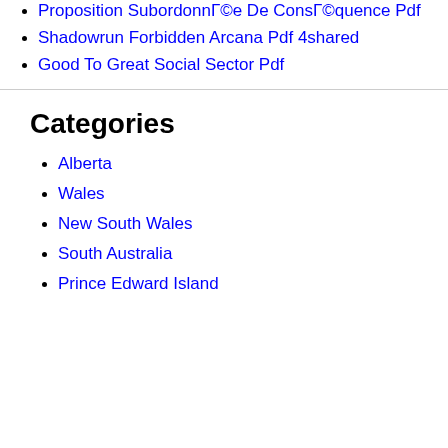Proposition SubordonnÃ©e De ConsÃ©quence Pdf
Shadowrun Forbidden Arcana Pdf 4shared
Good To Great Social Sector Pdf
Categories
Alberta
Wales
New South Wales
South Australia
Prince Edward Island